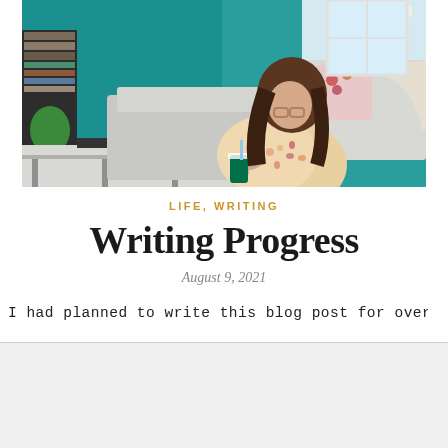[Figure (photo): Woman with glasses and floral dress sitting on a gray sofa in a living room with teal walls, holding a Starbucks iced drink, with a white coffee table in the foreground and bookshelves, plants, and windows visible in background]
LIFE, WRITING
Writing Progress
August 9, 2021
I had planned to write this blog post for over a week and
Advertisements